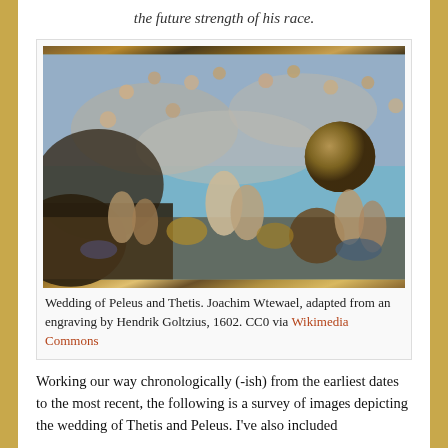the future strength of his race.
[Figure (illustration): Baroque painting 'Wedding of Peleus and Thetis' by Joachim Wtewael, 1602, showing a crowded mythological scene with gods, cherubs, and figures in the sky and ground.]
Wedding of Peleus and Thetis. Joachim Wtewael, adapted from an engraving by Hendrik Goltzius, 1602. CC0 via Wikimedia Commons
Working our way chronologically (-ish) from the earliest dates to the most recent, the following is a survey of images depicting the wedding of Thetis and Peleus. I've also included